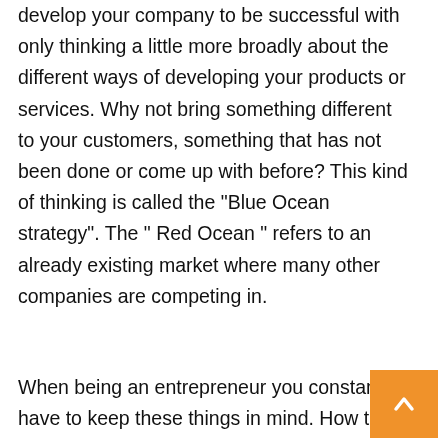develop your company to be successful with only thinking a little more broadly about the different ways of developing your products or services. Why not bring something different to your customers, something that has not been done or come up with before? This kind of thinking is called the "Blue Ocean strategy". The " Red Ocean " refers to an already existing market where many other companies are competing in.
When being an entrepreneur you constantly have to keep these things in mind. How to